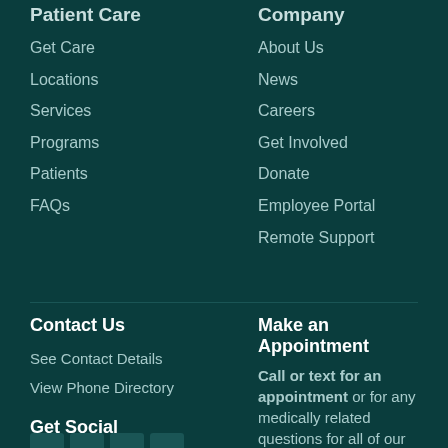Patient Care
Get Care
Locations
Services
Programs
Patients
FAQs
Company
About Us
News
Careers
Get Involved
Donate
Employee Portal
Remote Support
Contact Us
See Contact Details
View Phone Directory
Get Social
Make an Appointment
Call or text for an appointment or for any medically related questions for all of our clinic sites.